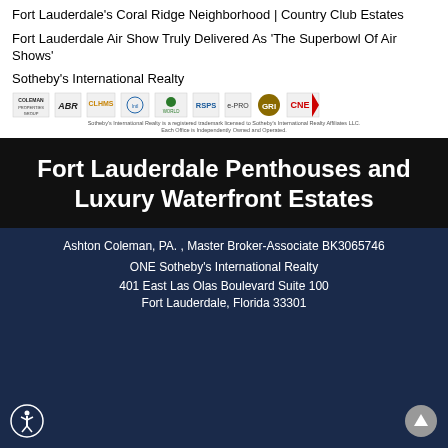Fort Lauderdale's Coral Ridge Neighborhood | Country Club Estates
Fort Lauderdale Air Show Truly Delivered As 'The Superbowl Of Air Shows'
Sotheby's International Realty
[Figure (logo): Row of certification and affiliation logos: Coleman Properties Group, ABR, CLHMS, International Properties Connection, World Properties, RSPS, e-PRO, Gold, CNE]
Sotheby's International Realty is a registered trademark licensed to Sotheby's International Realty Affiliates LLC. Each Office is Independently Owned and Operated.
Fort Lauderdale Penthouses and Luxury Waterfront Estates
Ashton Coleman, PA. , Master Broker-Associate BK3065746
ONE Sotheby's International Realty
401 East Las Olas Boulevard Suite 100
Fort Lauderdale, Florida 33301